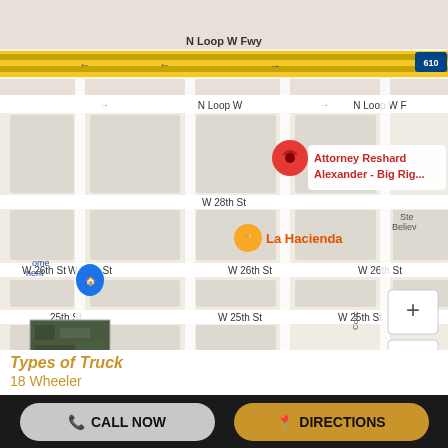[Figure (map): Google Maps screenshot showing Houston, TX area around N Loop W Fwy and W 26th St, with a red map pin labeled 'Attorney Reshard Alexander - Big Rig...' and an orange pin for 'La Hacienda' restaurant. Streets visible include N Loop W Fwy, N Loop W, W 28th St, W 26th St, W 25th St, W 24th St. Map data ©2022 Google.]
Types of Truck
18 Wheeler
Ambulance
CALL NOW
DIRECTIONS